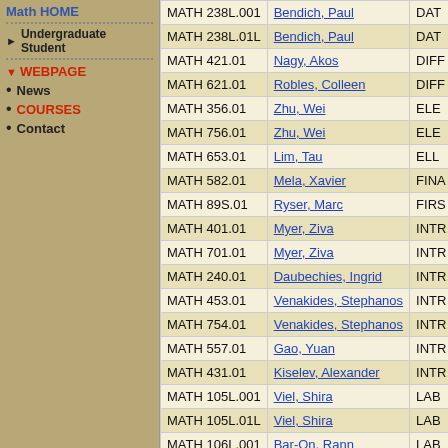Math HOME
Undergraduate Student
WEBPAGE
News
COURSES
Contact
| Course | Instructor | Title (truncated) |
| --- | --- | --- |
| MATH 238L.001 | Bendich, Paul | DAT... |
| MATH 238L.01L | Bendich, Paul | DAT... |
| MATH 421.01 | Nagy, Akos | DIFF... |
| MATH 621.01 | Robles, Colleen | DIFF... |
| MATH 356.01 | Zhu, Wei | ELE... |
| MATH 756.01 | Zhu, Wei | ELE... |
| MATH 653.01 | Lim, Tau | ELL... |
| MATH 582.01 | Mela, Xavier | FINA... |
| MATH 89S.01 | Ryser, Marc | FIRS... |
| MATH 401.01 | Myer, Ziva | INTR... |
| MATH 701.01 | Myer, Ziva | INTR... |
| MATH 240.01 | Daubechies, Ingrid | INTR... |
| MATH 453.01 | Venakides, Stephanos | INTR... |
| MATH 754.01 | Venakides, Stephanos | INTR... |
| MATH 557.01 | Gao, Yuan | INTR... |
| MATH 431.01 | Kiselev, Alexander | INTR... |
| MATH 105L.001 | Viel, Shira | LAB... |
| MATH 105L.01L | Viel, Shira | LAB... |
| MATH 106L.001 | Bar-On, Rann | LAB... |
| MATH 106L.01L | Bar-On, Rann | LAB... |
| MATH 106L.002 | Williamson, Brendan | LAB... |
| MATH 106L.02L | Williamson, Brendan | LAB... |
| MATH 106L.003 | Huang, Xiangying | LAB... |
| MATH 106L.03L | Huang, Xiangying | LAB... |